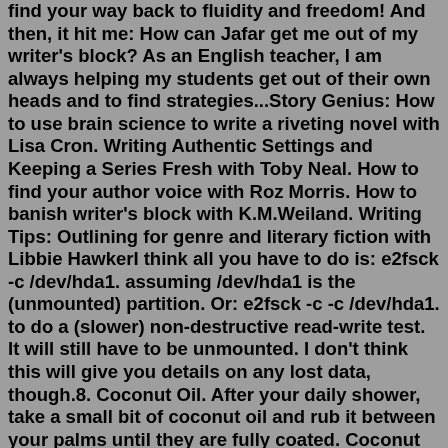find your way back to fluidity and freedom! And then, it hit me: How can Jafar get me out of my writer's block? As an English teacher, I am always helping my students get out of their own heads and to find strategies...Story Genius: How to use brain science to write a riveting novel with Lisa Cron. Writing Authentic Settings and Keeping a Series Fresh with Toby Neal. How to find your author voice with Roz Morris. How to banish writer's block with K.M.Weiland. Writing Tips: Outlining for genre and literary fiction with Libbie HawkerI think all you have to do is: e2fsck -c /dev/hda1. assuming /dev/hda1 is the (unmounted) partition. Or: e2fsck -c -c /dev/hda1. to do a (slower) non-destructive read-write test. It will still have to be unmounted. I don't think this will give you details on any lost data, though.8. Coconut Oil. After your daily shower, take a small bit of coconut oil and rub it between your palms until they are fully coated. Coconut oil is a natural antiperspirant, and it has several other skin-related